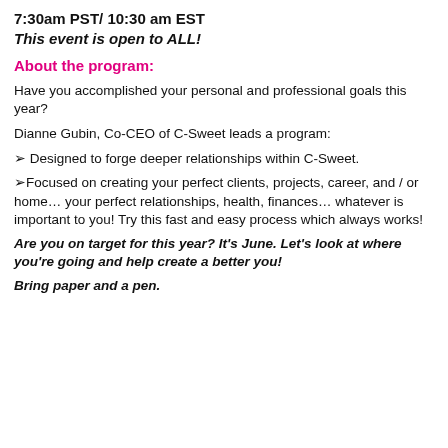7:30am PST/ 10:30 am EST
This event is open to ALL!
About the program:
Have you accomplished your personal and professional goals this year?
Dianne Gubin, Co-CEO of C-Sweet leads a program:
➢ Designed to forge deeper relationships within C-Sweet.
➢Focused on creating your perfect clients, projects, career, and / or home… your perfect relationships, health, finances… whatever is important to you! Try this fast and easy process which always works!
Are you on target for this year? It's June. Let's look at where you're going and help create a better you!
Bring paper and a pen.